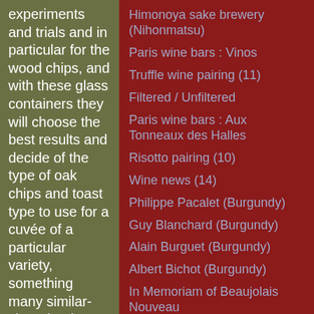experiments and trials and in particular for the wood chips, and with these glass containers they will choose the best results and decide of the type of oak chips and toast type to use for a cuvée of a particular variety, something many similar-size wineries are doing
Himonoya sake brewery (Nihonmatsu)
Paris wine bars : Vinos
Truffle wine pairing (11)
Filtered / Unfiltered
Paris wine bars : Aux Tonneaux des Halles
Risotto pairing (10)
Wine news (14)
Philippe Pacalet (Burgundy)
Guy Blanchard (Burgundy)
Alain Burguet (Burgundy)
Albert Bichot (Burgundy)
In Memoriam of Beaujolais Nouveau